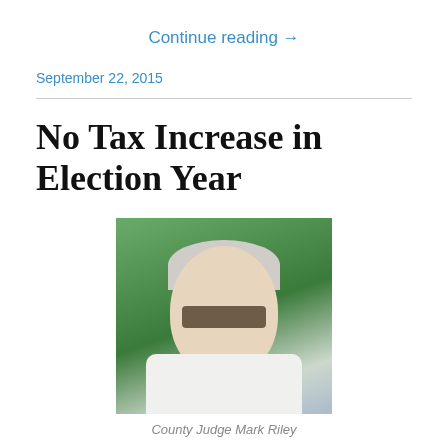Continue reading →
September 22, 2015
No Tax Increase in Election Year
[Figure (photo): Photo of County Judge Mark Riley, a heavyset older man with white hair wearing sunglasses and a white shirt, standing outdoors with palm trees and a building in the background.]
County Judge Mark Riley